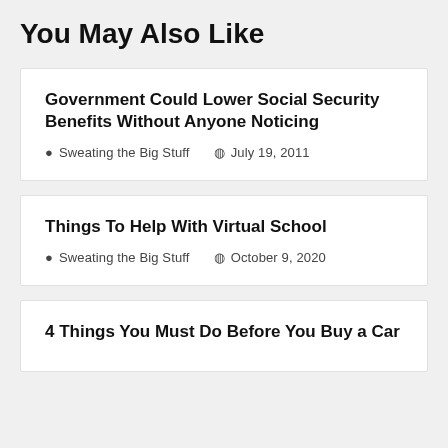You May Also Like
Government Could Lower Social Security Benefits Without Anyone Noticing
Sweating the Big Stuff  July 19, 2011
Things To Help With Virtual School
Sweating the Big Stuff  October 9, 2020
4 Things You Must Do Before You Buy a Car